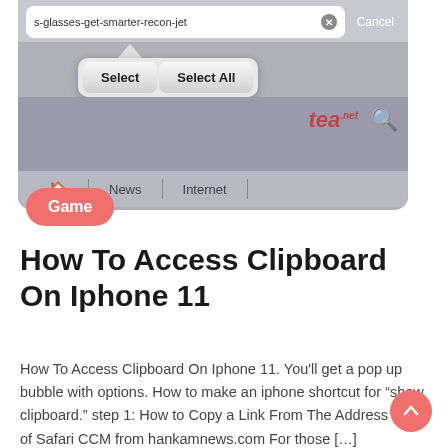[Figure (screenshot): iPhone browser screenshot showing an address bar with text 's-glasses-get-smarter-recon-jet', a Cancel button, a Select/Select All popup menu, and browser navigation tabs for News and Internet]
Game
How To Access Clipboard On Iphone 11
How To Access Clipboard On Iphone 11. You'll get a pop up bubble with options. How to make an iphone shortcut for “show clipboard.” step 1: How to Copy a Link From The Address Bar of Safari CCM from hankamnews.com For those […]